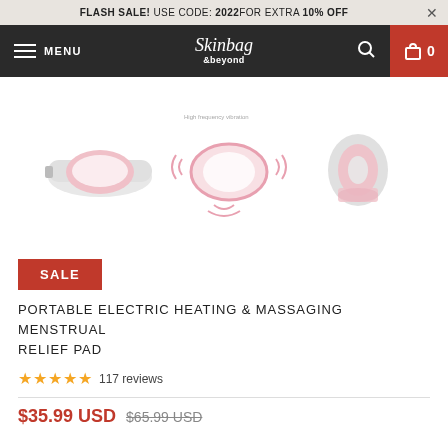FLASH SALE! USE CODE: 2022FOR EXTRA 10% OFF
[Figure (screenshot): Navigation bar with hamburger menu, Skinbag &beyond logo, search icon, and shopping cart showing 0 items]
[Figure (photo): Three product images of a portable electric heating and massaging menstrual relief pad — front view, side view with vibration indicators, and rolled-up view — in pink and grey colors]
SALE
PORTABLE ELECTRIC HEATING & MASSAGING MENSTRUAL RELIEF PAD
★★★★★ 117 reviews
$35.99 USD $65.99 USD